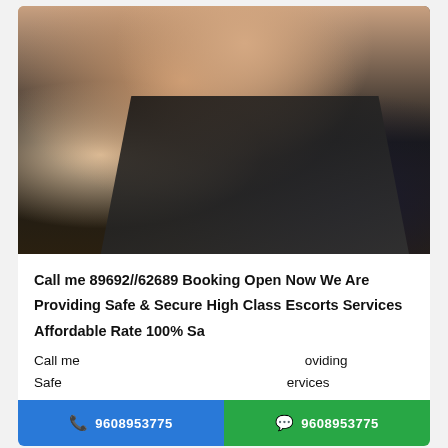[Figure (photo): Photo of a young woman wearing a black top, seated on a bed with white pillows visible in the background]
Call me 89692//62689 Booking Open Now We Are Providing Safe & Secure High Class Escorts Services Affordable Rate 100% Sa
Call me ... oviding Safe ... ervices
9608953775
9608953775